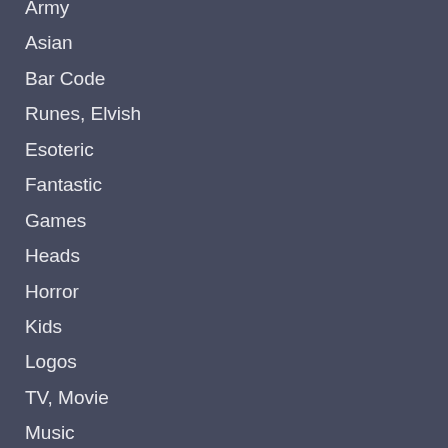Army
Asian
Bar Code
Runes, Elvish
Esoteric
Fantastic
Games
Heads
Horror
Kids
Logos
TV, Movie
Music
Nature
Sexy
Shapes
Sport
Various